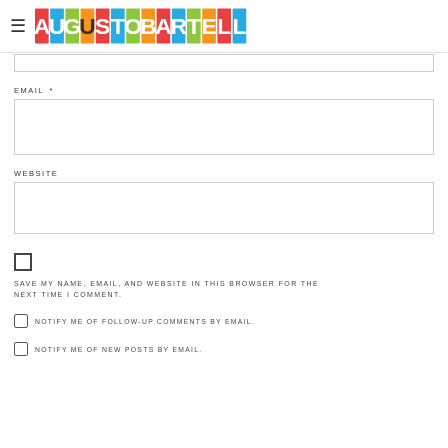≡ AUGUSTOUBARTELLE
[Figure (screenshot): Partial top input box (previous field, cut off at top)]
EMAIL *
[Figure (screenshot): Email input text box]
WEBSITE
[Figure (screenshot): Website input text box]
SAVE MY NAME, EMAIL, AND WEBSITE IN THIS BROWSER FOR THE NEXT TIME I COMMENT.
NOTIFY ME OF FOLLOW-UP COMMENTS BY EMAIL.
NOTIFY ME OF NEW POSTS BY EMAIL.